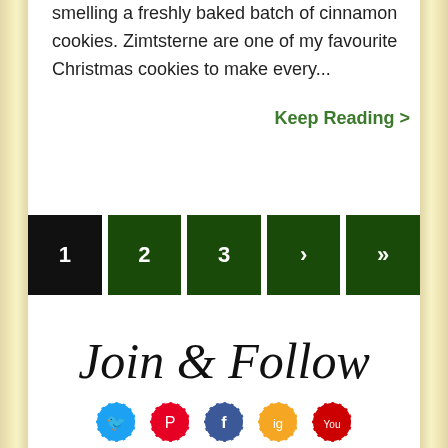smelling a freshly baked batch of cinnamon cookies. Zimtsterne are one of my favourite Christmas cookies to make every...
Keep Reading >
1  2  3  ›  »
Join & Follow
[Figure (illustration): Row of social media icon circles: Twitter (cyan), Pinterest (red), Facebook (dark blue), Instagram (gold), YouTube (red)]